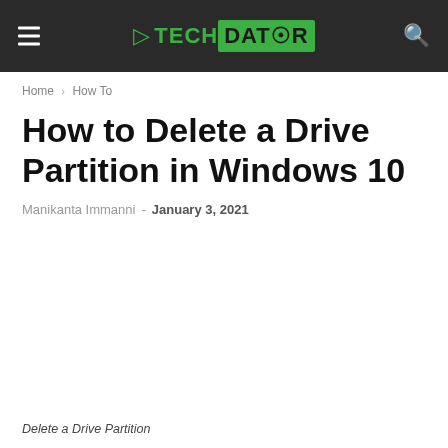TECH DATOR
Home › How To
How to Delete a Drive Partition in Windows 10
Manikanta Immanni - January 3, 2021
Delete a Drive Partition